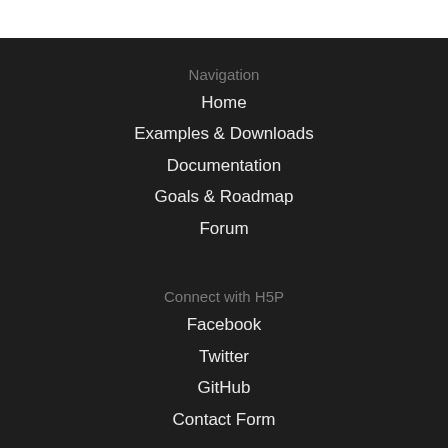Navigation
Home
Examples & Downloads
Documentation
Goals & Roadmap
Forum
Connect with H5P
Facebook
Twitter
GitHub
Contact Form
About